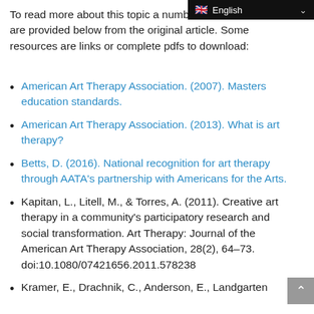To read more about this topic a number of resources are provided below from the original article. Some resources are links or complete pdfs to download:
American Art Therapy Association. (2007). Masters education standards.
American Art Therapy Association. (2013). What is art therapy?
Betts, D. (2016). National recognition for art therapy through AATA's partnership with Americans for the Arts.
Kapitan, L., Litell, M., & Torres, A. (2011). Creative art therapy in a community's participatory research and social transformation. Art Therapy: Journal of the American Art Therapy Association, 28(2), 64–73. doi:10.1080/07421656.2011.578238
Kramer, E., Drachnik, C., Anderson, E., Landgarten